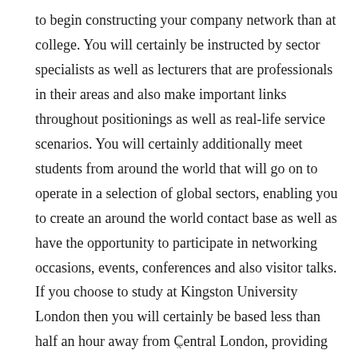to begin constructing your company network than at college. You will certainly be instructed by sector specialists as well as lecturers that are professionals in their areas and also make important links throughout positionings as well as real-life service scenarios. You will certainly additionally meet students from around the world that will go on to operate in a selection of global sectors, enabling you to create an around the world contact base as well as have the opportunity to participate in networking occasions, events, conferences and also visitor talks. If you choose to study at Kingston University London then you will certainly be based less than half an hour away from Central London, providing you the opportunity to be connected with the international business network.
x